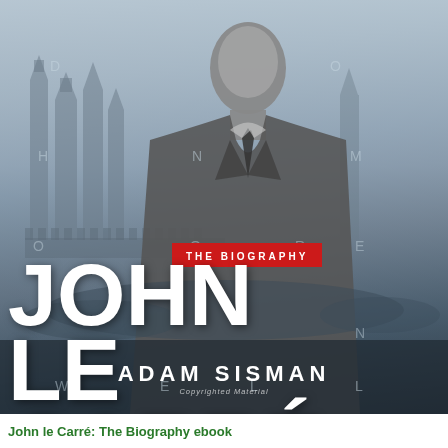[Figure (photo): Book cover of 'John le Carré: The Biography' by Adam Sisman. Black and white photograph of a man (John le Carré) in a suit and tie, with Red Square and the Kremlin towers visible in the misty background. Large white bold text displays the author's name 'JOHN LE CARRÉ' and a red badge reads 'THE BIOGRAPHY'. Author attribution 'ADAM SISMAN' appears at the bottom.]
John le Carré: The Biography ebook